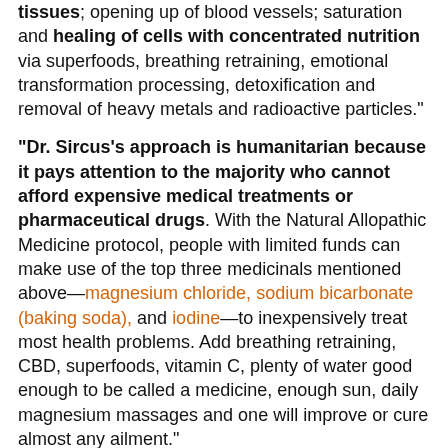tissues; opening up of blood vessels; saturation and healing of cells with concentrated nutrition via superfoods, breathing retraining, emotional transformation processing, detoxification and removal of heavy metals and radioactive particles."
"Dr. Sircus's approach is humanitarian because it pays attention to the majority who cannot afford expensive medical treatments or pharmaceutical drugs. With the Natural Allopathic Medicine protocol, people with limited funds can make use of the top three medicinals mentioned above—magnesium chloride, sodium bicarbonate (baking soda), and iodine—to inexpensively treat most health problems. Add breathing retraining, CBD, superfoods, vitamin C, plenty of water good enough to be called a medicine, enough sun, daily magnesium massages and one will improve or cure almost any ailment."
See this excerpt about Cancer too:
"When it comes to cancer, Dr. Sircus pays attention to the terrain, to the surrounding cells and the surrounding extracellular matrix, which interacts and shapes cancer cell